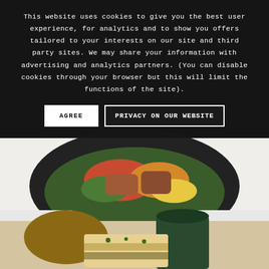[Figure (photo): Background food photos: top shows dark background with colorful vegetables, middle shows a dark bowl with stir-fried meat and vegetables on lettuce with red peppers on a white surface, bottom shows a wooden board with food items, a dark green mug, and what appears to be a sandwich or flatbread with herbs]
This website uses cookies to give you the best user experience, for analytics and to show you offers tailored to your interests on our site and third party sites. We may share your information with advertising and analytics partners. (You can disable cookies through your browser but this will limit the functions of the site).